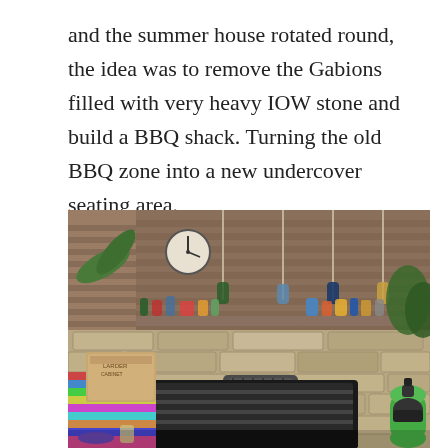and the summer house rotated round, the idea was to remove the Gabions filled with very heavy IOW stone and build a BBQ shack. Turning the old BBQ zone into a new undercover seating area.
[Figure (photo): Outdoor BBQ area with a large charcoal grill in the foreground, stone walls with wooden fence panels behind, hanging pendant lights made from bottles, shelves with bottles and decorative items, wicker chairs, a colourful tablecloth on the left, and a green gas canister on the right.]